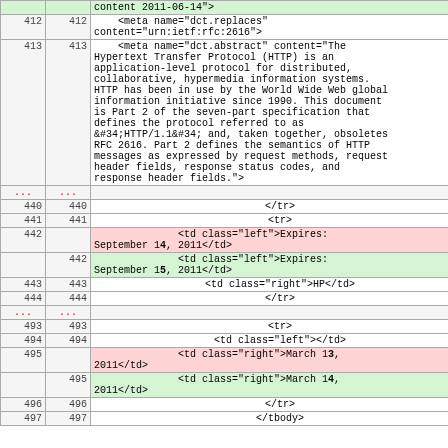| line-old | line-new | code |
| --- | --- | --- |
|  |  | content 2011-06-14"> |
| 412 | 412 | <meta name="dct.replaces" content="urn:ietf:rfc:2616"> |
| 413 | 413 | <meta name="dct.abstract" content="The Hypertext Transfer Protocol (HTTP) is an application-level protocol for distributed, collaborative, hypermedia information systems. HTTP has been in use by the World Wide Web global information initiative since 1990. This document is Part 2 of the seven-part specification that defines the protocol referred to as &#34;HTTP/1.1&#34; and, taken together, obsoletes RFC 2616. Part 2 defines the semantics of HTTP messages as expressed by request methods, request header fields, response status codes, and response header fields."> |
| ... | ... |  |
| 440 | 440 | </tr> |
| 441 | 441 | <tr> |
| 442 |  | <td class="left">Expires: September 14, 2011</td> |
|  | 442 | <td class="left">Expires: September 15, 2011</td> |
| 443 | 443 | <td class="right">HP</td> |
| 444 | 444 | </tr> |
| ... | ... |  |
| 493 | 493 | <tr> |
| 494 | 494 | <td class="left"></td> |
| 495 |  | <td class="right">March 13, 2011</td> |
|  | 495 | <td class="right">March 14, 2011</td> |
| 496 | 496 | </tr> |
| 497 | 497 | </tbody> |